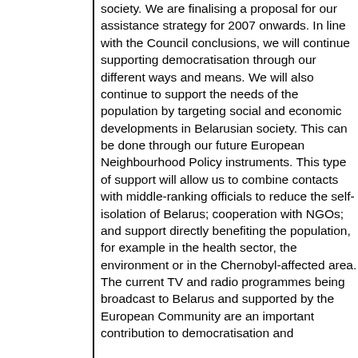society. We are finalising a proposal for our assistance strategy for 2007 onwards. In line with the Council conclusions, we will continue supporting democratisation through our different ways and means. We will also continue to support the needs of the population by targeting social and economic developments in Belarusian society. This can be done through our future European Neighbourhood Policy instruments. This type of support will allow us to combine contacts with middle-ranking officials to reduce the self-isolation of Belarus; cooperation with NGOs; and support directly benefiting the population, for example in the health sector, the environment or in the Chernobyl-affected area. The current TV and radio programmes being broadcast to Belarus and supported by the European Community are an important contribution to democratisation and